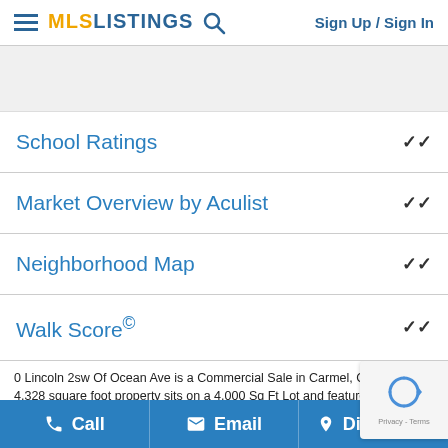MLS LISTINGS  Sign Up / Sign In
[Figure (other): Gray banner area placeholder]
School Ratings
Market Overview by Aculist
Neighborhood Map
Walk Score©
0 Lincoln 2sw Of Ocean Ave is a Commercial Sale in Carmel, CA 939... This 4,328 square foot property sits on a 4,000 Sq Ft Lot and features – be – full bathrooms. It is currently priced at $8,695,000 and was built in 1... address can also be written as 0 Lincoln 2sw Of Ocean Ave, Carmel,